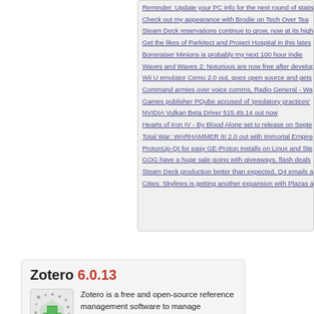Reminder: Update your PC info for the next round of stats
Check out my appearance with Brodie on Tech Over Tea
Steam Deck reservations continue to grow, now at its highest
Get the likes of Parkitect and Project Hospital in this latest
Boneraiser Minions is probably my next 100 hour indie
Waves and Waves 2: Notorious are now free after developer
Wii U emulator Cemu 2.0 out, goes open source and gets
Command armies over voice comms, Radio General - Wa
Games publisher PQube accused of 'predatory practices'
NVIDIA Vulkan Beta Driver 515.49.14 out now
Hearts of Iron IV - By Blood Alone set to release on Septe
Total War: WARHAMMER III 2.0 out with Immortal Empire
ProtonUp-Qt for easy GE-Proton installs on Linux and Ste
GOG have a huge sale going with giveaways, flash deals
Steam Deck production better than expected, Q4 emails a
Cities: Skylines is getting another expansion with Plazas a
Zotero 6.0.13
[Figure (logo): Zotero application icon showing a green arrow logo with dots]
Zotero is a free and open-source reference management software to manage bibliographic data and